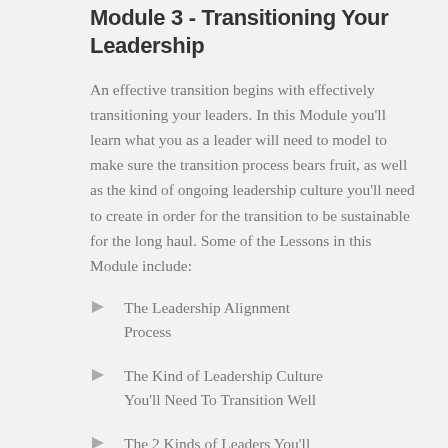Module 3 - Transitioning Your Leadership
An effective transition begins with effectively transitioning your leaders. In this Module you'll learn what you as a leader will need to model to make sure the transition process bears fruit, as well as the kind of ongoing leadership culture you'll need to create in order for the transition to be sustainable for the long haul. Some of the Lessons in this Module include:
The Leadership Alignment Process
The Kind of Leadership Culture You'll Need To Transition Well
The 2 Kinds of Leaders You'll